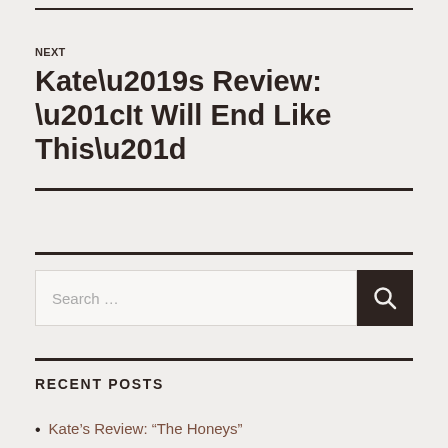NEXT
Kate’s Review: “It Will End Like This”
[Figure (other): Search bar with text 'Search ...' and a dark search button with magnifying glass icon]
RECENT POSTS
Kate’s Review: “The Honeys”